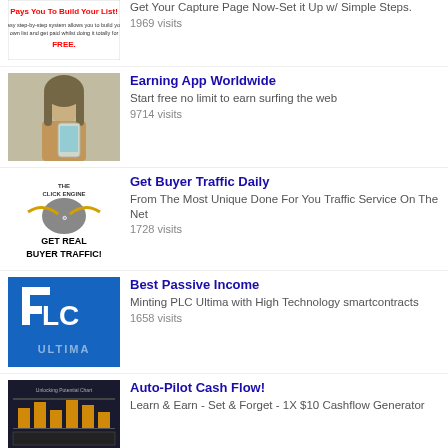[Figure (illustration): Ad banner with red text 'Pays You To Build Your List!' and black text about easy step-by-step system, FREE in red]
Get Your Capture Page Now-Set it Up w/ Simple Steps.
1969 visits
[Figure (photo): Woman smiling looking at smartphone]
Earning App Worldwide
Start free no limit to earn surfing the web
9714 visits
[Figure (logo): The Click Engine logo with GET REAL BUYER TRAFFIC! text]
Get Buyer Traffic Daily
From The Most Unique Done For You Traffic Service On The Net
1728 visits
[Figure (logo): PLC ULTIMA logo on blue background]
Best Passive Income
Minting PLC Ultima with High Technology smartcontracts
1658 visits
[Figure (screenshot): Screenshot of a chart/financial dashboard]
Auto-Pilot Cash Flow!
Learn & Earn - Set & Forget - 1X $10 Cashflow Generator